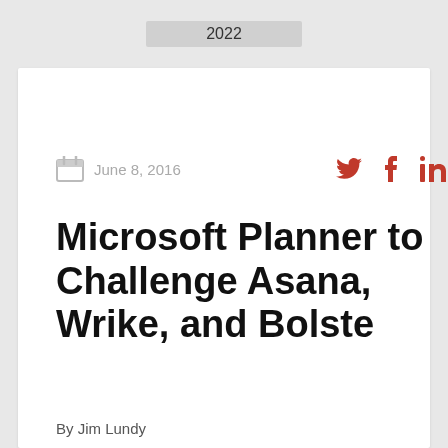2022
June 8, 2016
Microsoft Planner to Challenge Asana, Wrike, and Bolste
By Jim Lundy
Microsoft has always been quick to spot winners and two Aragon Hot Vendors in Structured Collaboration, Asana and Wrike, are